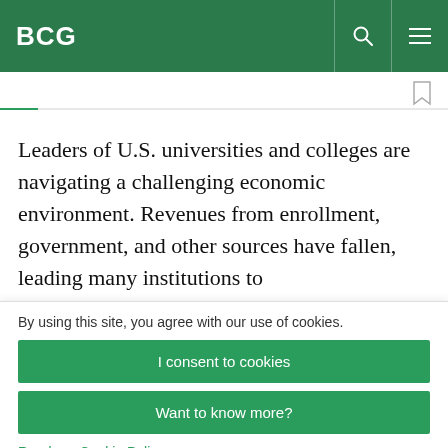BCG
Leaders of U.S. universities and colleges are navigating a challenging economic environment. Revenues from enrollment, government, and other sources have fallen, leading many institutions to
By using this site, you agree with our use of cookies.
I consent to cookies
Want to know more?
Read our Cookie Policy